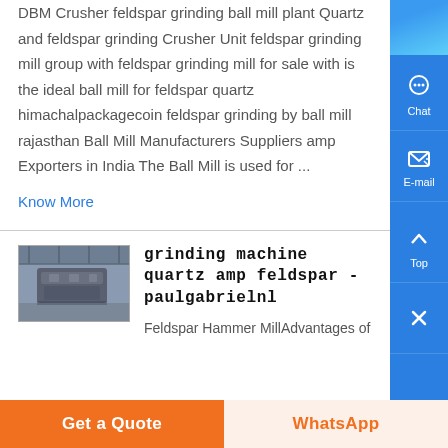DBM Crusher feldspar grinding ball mill plant Quartz and feldspar grinding Crusher Unit feldspar grinding mill group with feldspar grinding mill for sale with is the ideal ball mill for feldspar quartz himachalpackagecoin feldspar grinding by ball mill rajasthan Ball Mill Manufacturers Suppliers amp Exporters in India The Ball Mill is used for ...
Know More
[Figure (photo): Photo of industrial grinding machine in a factory setting, showing large grey machinery.]
grinding machine quartz amp feldspar - paulgabrielnl
Feldspar Hammer MillAdvantages of